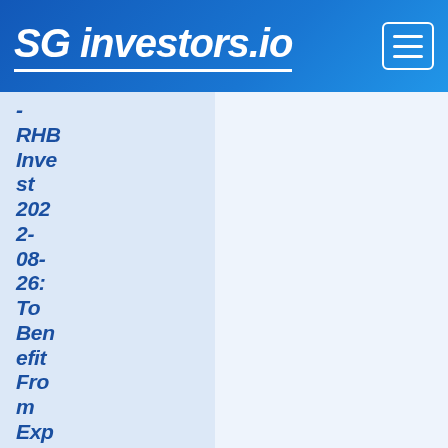SG investors.io
- RHB Invest 2022-08-26: To Benefit From Expected Rise In Tourism; BUY